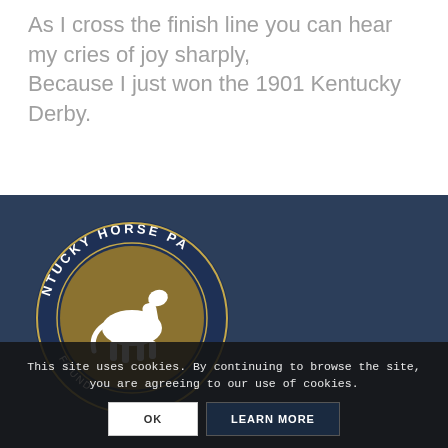As I cross the finish line you can hear my cries of joy sharply, Because I just won the 1901 Kentucky Derby.
[Figure (logo): Kentucky Horse Park Foundation circular logo with gold center showing a white horse silhouette, dark navy blue border with text around the perimeter]
This site uses cookies. By continuing to browse the site, you are agreeing to our use of cookies.
OK
LEARN MORE